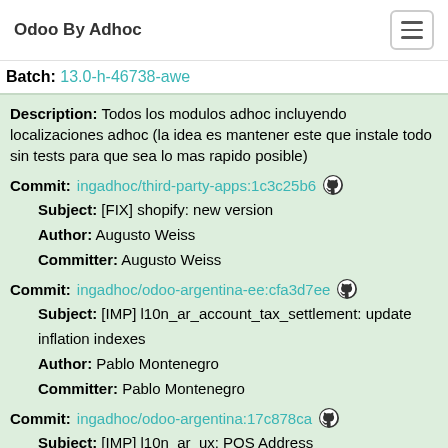Odoo By Adhoc
Batch: 13.0-h-46738-awe
Description: Todos los modulos adhoc incluyendo localizaciones adhoc (la idea es mantener este que instale todo sin tests para que sea lo mas rapido posible)
Commit: ingadhoc/third-party-apps:1c3c25b6
Subject: [FIX] shopify: new version
Author: Augusto Weiss
Committer: Augusto Weiss
Commit: ingadhoc/odoo-argentina-ee:cfa3d7ee
Subject: [IMP] l10n_ar_account_tax_settlement: update inflation indexes
Author: Pablo Montenegro
Committer: Pablo Montenegro
Commit: ingadhoc/odoo-argentina:17c878ca
Subject: [IMP] l10n_ar_ux: POS Address
Author: Ignacio Cainelli
Committer: Ignacio Cainelli